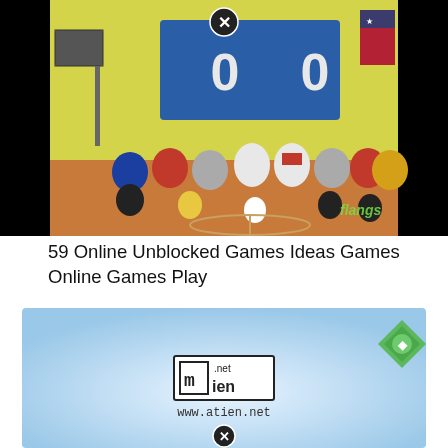[Figure (screenshot): Screenshot of an animated basketball video game showing a court with cartoon characters, a scoreboard showing 0-0, colorful spectators in the stands, flags, and a watermark reading 'flangs'. A close/exit button (X in circle) appears at the top center.]
59 Online Unblocked Games Ideas Games Online Games Play
[Figure (screenshot): A light blue gradient background image/screenshot with a green diamond logo icon in the top right corner, an 'atien.net' logo/text box in the center, the URL www.atien.net below it, and a close/exit button (X in circle) at the bottom center.]